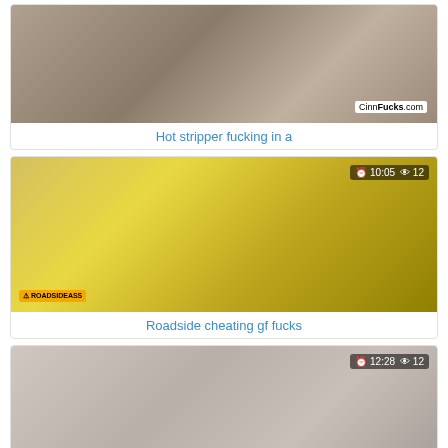[Figure (photo): Thumbnail image for adult video titled 'Hot stripper fucking in a' with CinnFucks.com watermark]
Hot stripper fucking in a
[Figure (photo): Thumbnail image for adult video 'Roadside cheating gf fucks' with duration 10:05 and view count 12, Roadsideass watermark]
Roadside cheating gf fucks
[Figure (photo): Thumbnail image for adult video with duration 12:28 and view count 12]